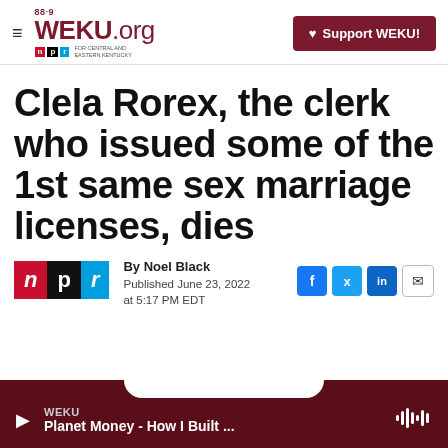88.9 WEKU.org NPR FOR CENTRAL AND EASTERN KENTUCKY | Support WEKU!
Clela Rorex, the clerk who issued some of the 1st same sex marriage licenses, dies
By Noel Black
Published June 23, 2022 at 5:17 PM EDT
WEKU Planet Money - How I Built ...